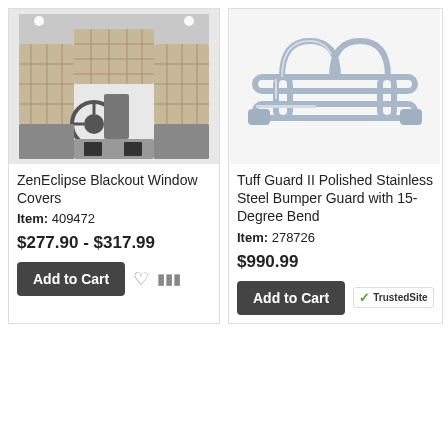[Figure (photo): Interior of a truck cab with blackout window covers installed on windshield and side windows]
ZenEclipse Blackout Window Covers
Item: 409472
$277.90 - $317.99
Add to Cart
[Figure (photo): Tuff Guard II polished stainless steel bumper guard with 15-degree bend, shown on white background]
Tuff Guard II Polished Stainless Steel Bumper Guard with 15-Degree Bend
Item: 278726
$990.99
Add to Cart
[Figure (logo): TrustedSite logo with green checkmark]